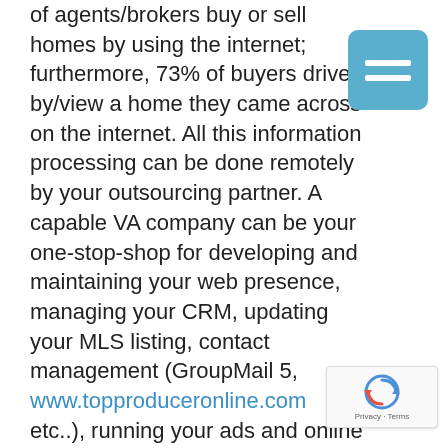of agents/brokers buy or sell homes by using the internet; furthermore, 73% of buyers drive by/view a home they came across on the internet. All this information processing can be done remotely by your outsourcing partner. A capable VA company can be your one-stop-shop for developing and maintaining your web presence, managing your CRM, updating your MLS listing, contact management (GroupMail 5, www.topproduceronline.com etc..), running your ads and online marketing campaigns, newsletter and flyer design to name a few.
[Figure (other): Blue square menu/hamburger button icon with two white horizontal bars]
[Figure (other): Google reCAPTCHA badge with spinning arrow logo and Privacy · Terms text]